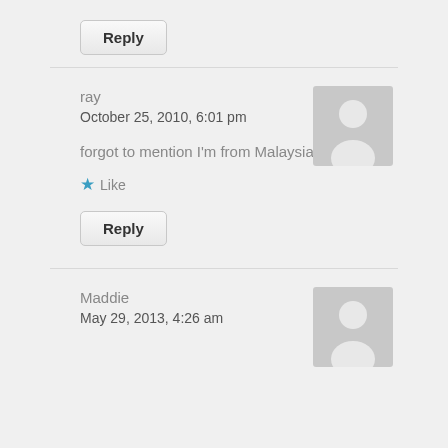Reply (button)
ray
October 25, 2010, 6:01 pm
[Figure (illustration): Default user avatar placeholder (grey silhouette person icon)]
forgot to mention I'm from Malaysia....
★ Like
Reply (button)
Maddie
May 29, 2013, 4:26 am
[Figure (illustration): Default user avatar placeholder (grey silhouette person icon)]